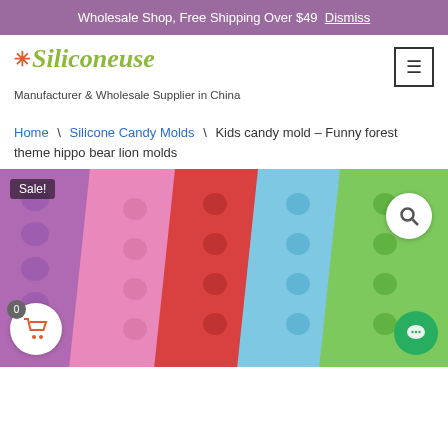Wholesale Shop, Free Shipping Over $49 Dismiss
[Figure (logo): Siliconeuse logo with orange snowflake icon and green stylized text]
Manufacturer & Wholesale Supplier in China
Home \ Silicone Candy Molds \ Kids candy mold – Funny forest theme hippo bear lion molds
[Figure (photo): Product photo showing colorful silicone candy molds in purple, pink, red, blue, and green colors with animal shapes (hippo, bear, lion). Sale badge in top left, search button top right, cart button bottom left with count 0, chat button bottom right.]